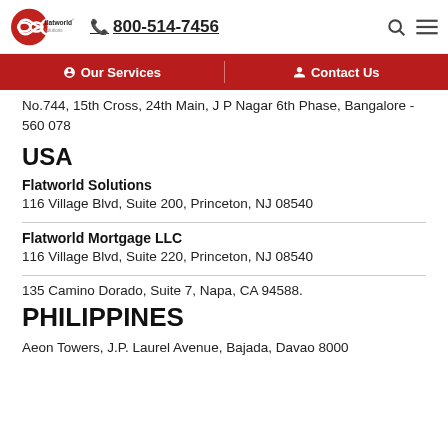[Figure (logo): Flatworld Solutions logo with infinity symbol in red circle and phone number 800-514-7456]
Our Services | Contact Us
No.744, 15th Cross, 24th Main, J P Nagar 6th Phase, Bangalore - 560 078
USA
Flatworld Solutions
116 Village Blvd, Suite 200, Princeton, NJ 08540
Flatworld Mortgage LLC
116 Village Blvd, Suite 220, Princeton, NJ 08540
135 Camino Dorado, Suite 7, Napa, CA 94588.
PHILIPPINES
Aeon Towers, J.P. Laurel Avenue, Bajada, Davao 8000